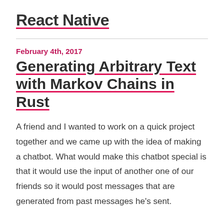React Native
February 4th, 2017
Generating Arbitrary Text with Markov Chains in Rust
A friend and I wanted to work on a quick project together and we came up with the idea of making a chatbot. What would make this chatbot special is that it would use the input of another one of our friends so it would post messages that are generated from past messages he's sent.